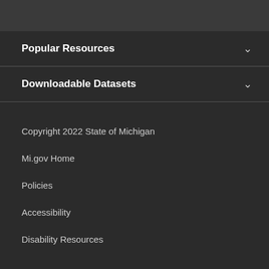Popular Resources
Downloadable Datasets
Copyright 2022 State of Michigan
Mi.gov Home
Policies
Accessibility
Disability Resources